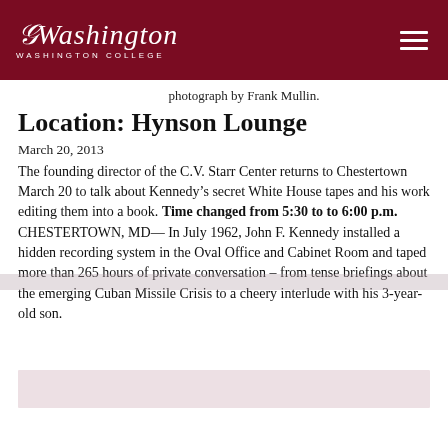Washington College
photograph by Frank Mullin.
Location: Hynson Lounge
March 20, 2013
The founding director of the C.V. Starr Center returns to Chestertown March 20 to talk about Kennedy’s secret White House tapes and his work editing them into a book. Time changed from 5:30 to to 6:00 p.m. CHESTERTOWN, MD— In July 1962, John F. Kennedy installed a hidden recording system in the Oval Office and Cabinet Room and taped more than 265 hours of private conversation – from tense briefings about the emerging Cuban Missile Crisis to a cheery interlude with his 3-year-old son.